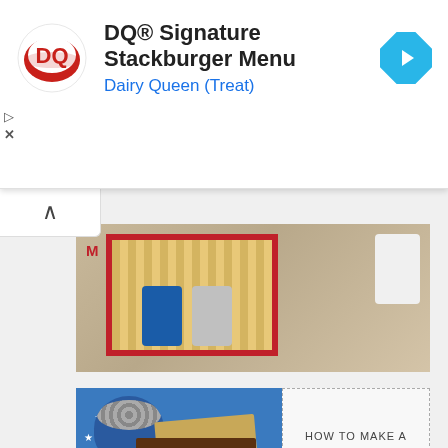[Figure (screenshot): Dairy Queen advertisement banner with DQ logo, text 'DQ® Signature Stackburger Menu' and 'Dairy Queen (Treat)', a blue diamond navigation arrow icon, and ad controls (play and close buttons)]
[Figure (photo): Photo of a cornhole board game with red frame, decorative figures, and a candle in the background. Partial text 'M BOARD' visible.]
[Figure (photo): Photo of a patriotic smores kit with blue tray, Hershey's chocolate bar, marshmallows, graham crackers, a tag label reading 'SMORES', and text overlay reading 'HOW TO MAKE A SMORES KIT with mini campfire']
[Figure (photo): Photo of an Americana flag wall hanging made from craft sticks with text 'AMERICANA FLAG WALL HANGING FROM CRAFT STICKS']